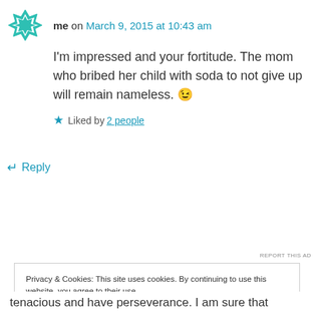me on March 9, 2015 at 10:43 am
I'm impressed and your fortitude. The mom who bribed her child with soda to not give up will remain nameless. 😉
Liked by 2 people
↵ Reply
[Figure (screenshot): Advertisement banner with dark background showing 'course with WordPress' text and 'Learn More' button with a logo circle on the left.]
REPORT THIS AD
Privacy & Cookies: This site uses cookies. By continuing to use this website, you agree to their use.
To find out more, including how to control cookies, see here: Cookie Policy
Close and accept
tenacious and have perseverance. I am sure that